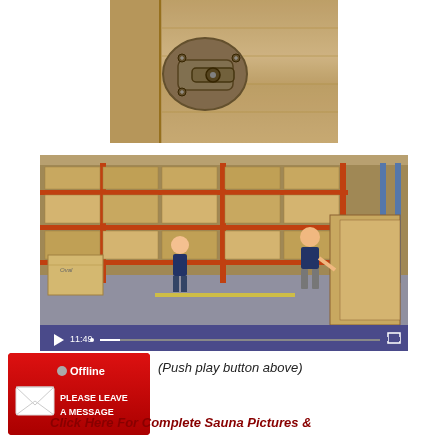[Figure (photo): Close-up photo of a metal latch/clasp on light wood paneling (sauna or cedar chest)]
[Figure (screenshot): Screenshot of a video player showing two men in a warehouse filled with wooden sauna panels on industrial shelving racks. Video duration 11:49 shown in the purple control bar at the bottom.]
[Figure (other): Red 'Offline - Please Leave A Message' live chat widget with envelope icon and grey dot indicator]
(Push play button above)
Click Here For Complete Sauna Pictures &